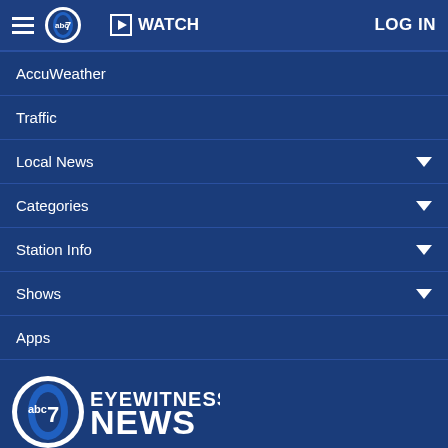abc7 | WATCH | LOG IN
AccuWeather
Traffic
Local News
Categories
Station Info
Shows
Apps
[Figure (logo): ABC 7 Eyewitness News logo — circular abc7 badge alongside 'EYEWITNESS NEWS' text]
Follow Us:
Privacy Policy